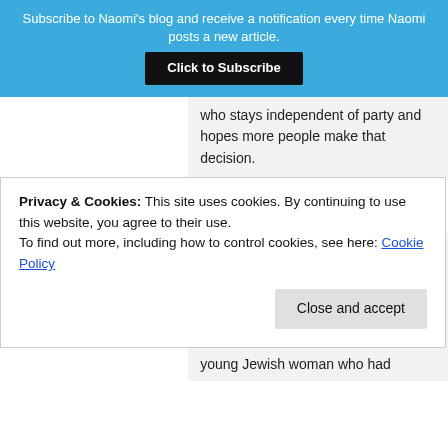Subscribe to Naomi's blog and receive a notification every time Naomi posts a new article.
Click to Subscribe
who stays independent of party and hopes more people make that decision.
Rachel  JULY 29, 2012
Naomi, I can feel your disappointment at not having
Privacy & Cookies: This site uses cookies. By continuing to use this website, you agree to their use.
To find out more, including how to control cookies, see here: Cookie Policy
Close and accept
young Jewish woman who had